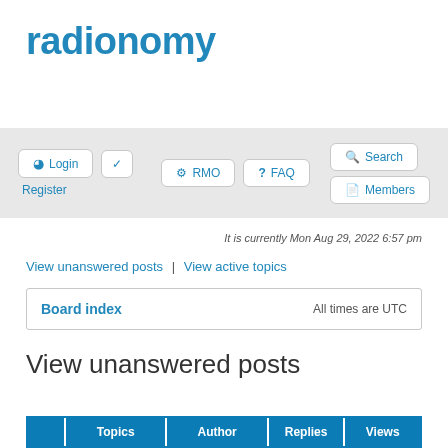radionomy
Login | Register | RMO | FAQ | Search | Members
It is currently Mon Aug 29, 2022 6:57 pm
View unanswered posts | View active topics
|  | Board index | All times are UTC |
| --- | --- | --- |
View unanswered posts
|  | Topics | Author | Replies | Views |
| --- | --- | --- | --- | --- |